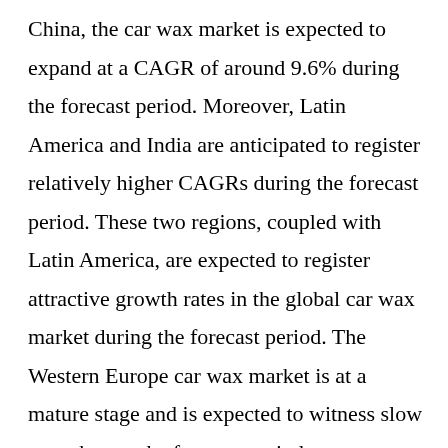China, the car wax market is expected to expand at a CAGR of around 9.6% during the forecast period. Moreover, Latin America and India are anticipated to register relatively higher CAGRs during the forecast period. These two regions, coupled with Latin America, are expected to register attractive growth rates in the global car wax market during the forecast period. The Western Europe car wax market is at a mature stage and is expected to witness slow growth over the forecast period.